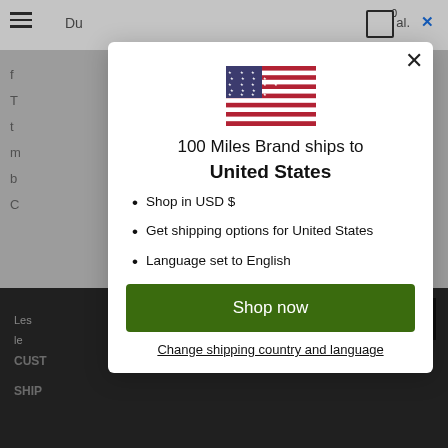[Figure (screenshot): Website background showing navigation bar with hamburger menu, partial page text, dark footer area, and scroll-to-top button. A modal dialog overlay is displayed in the center.]
100 Miles Brand ships to United States
Shop in USD $
Get shipping options for United States
Language set to English
Shop now
Change shipping country and language